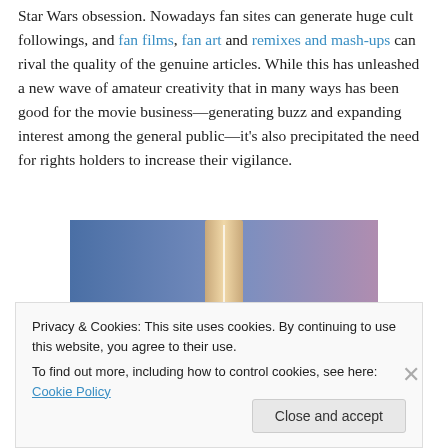Star Wars obsession. Nowadays fan sites can generate huge cult followings, and fan films, fan art and remixes and mash-ups can rival the quality of the genuine articles. While this has unleashed a new wave of amateur creativity that in many ways has been good for the movie business—generating buzz and expanding interest among the general public—it's also precipitated the need for rights holders to increase their vigilance.
[Figure (illustration): Partial image with blue-to-purple gradient background and a tan/brown vertical rectangular shape in the center]
Privacy & Cookies: This site uses cookies. By continuing to use this website, you agree to their use. To find out more, including how to control cookies, see here: Cookie Policy